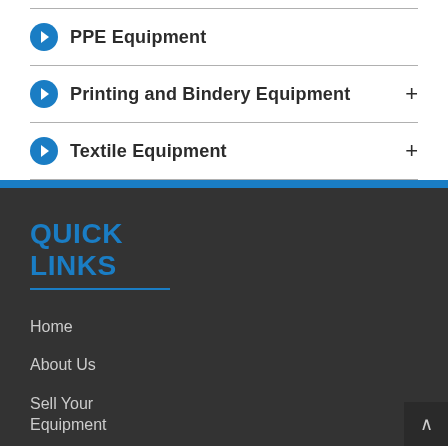PPE Equipment
Printing and Bindery Equipment
Textile Equipment
QUICK LINKS
Home
About Us
Sell Your Equipment
Catalog